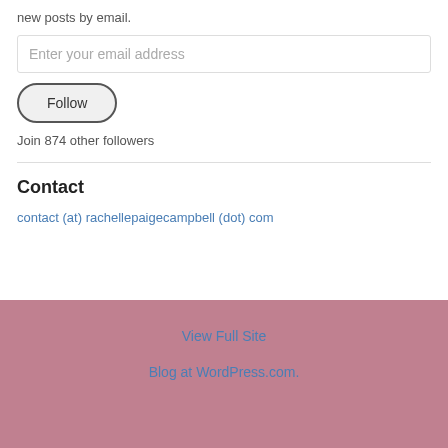new posts by email.
Enter your email address
Follow
Join 874 other followers
Contact
contact (at) rachellepaigecampbell (dot) com
View Full Site
Blog at WordPress.com.